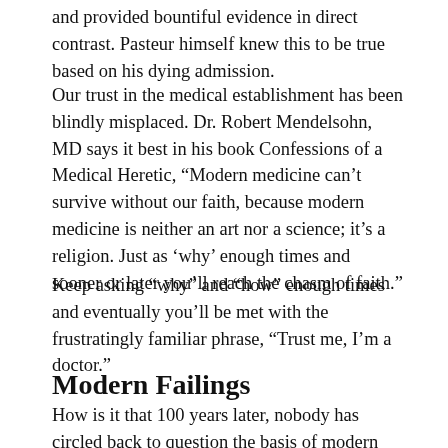and provided bountiful evidence in direct contrast. Pasteur himself knew this to be true based on his dying admission.
Our trust in the medical establishment has been blindly misplaced. Dr. Robert Mendelsohn, MD says it best in his book Confessions of a Medical Heretic, “Modern medicine can’t survive without our faith, because modern medicine is neither an art nor a science; it’s a religion. Just as ‘why’ enough times and sooner or later you’ll reach the chasm of faith.”
Keep asking “why” and “how” enough times and eventually you’ll be met with the frustratingly familiar phrase, “Trust me, I’m a doctor.”
Modern Failings
How is it that 100 years later, nobody has circled back to question the basis of modern medicine to the extent that